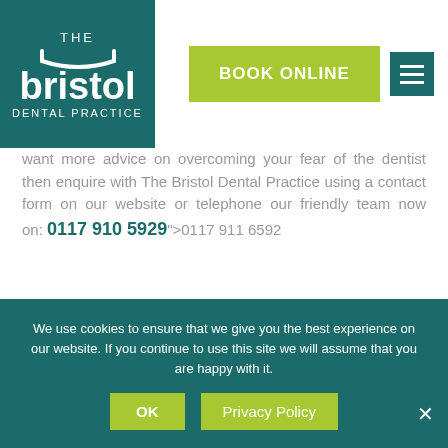[Figure (logo): The Bristol Dental Practice logo – teal background with white text and smile graphic]
[Figure (other): BOOK ONLINE button in lime green and a teal hamburger menu icon]
want more advice on overcoming your fear of the dentist then enquire with The Bristol Dental Practice using a contact form on our website or telephone our friendly team now on: 0117 910 5929">0117 911 6592
September 24, 2018
We use cookies to ensure that we give you the best experience on our website. If you continue to use this site we will assume that you are happy with it.